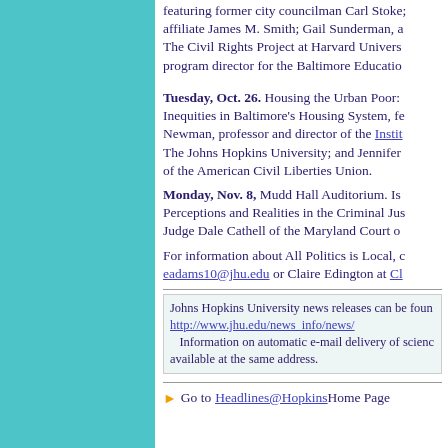featuring former city councilman Carl Stoke; affiliate James M. Smith; Gail Sunderman, a The Civil Rights Project at Harvard University; program director for the Baltimore Education
Tuesday, Oct. 26. Housing the Urban Poor: Inequities in Baltimore's Housing System, featuring Newman, professor and director of the Institute at The Johns Hopkins University; and Jennifer of the American Civil Liberties Union.
Monday, Nov. 8, Mudd Hall Auditorium. Is Perceptions and Realities in the Criminal Justice Judge Dale Cathell of the Maryland Court of
For information about All Politics is Local, contact eadams10@jhu.edu or Claire Edington at Cl
Johns Hopkins University news releases can be found at http://www.jhu.edu/news_info/news/ Information on automatic e-mail delivery of science news is available at the same address.
Go to Headlines@Hopkins Home Page